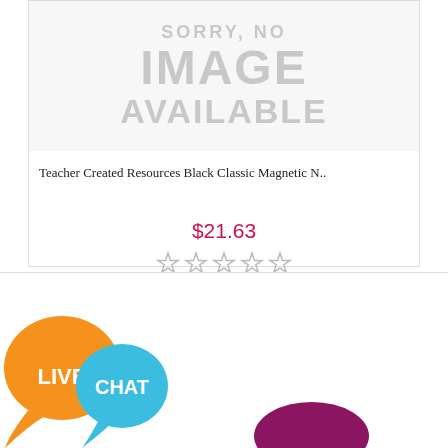[Figure (illustration): Sorry, no image available placeholder box with light gray text]
Teacher Created Resources Black Classic Magnetic N..
$21.63
[Figure (other): Five empty star rating icons]
ADD TO CART
[Figure (illustration): Live Chat widget with orange bubble labeled LIVE and blue bubble labeled CHAT]
[Figure (photo): Partial product image showing a dark purple/maroon oval object at bottom of page]